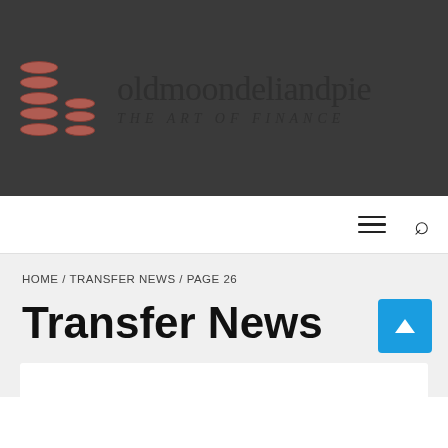[Figure (logo): oldmoondeliandpie logo with stacked coin icons and text 'oldmoondeliandpie THE ART OF FINANCE' on dark background]
HOME / TRANSFER NEWS / PAGE 26
Transfer News